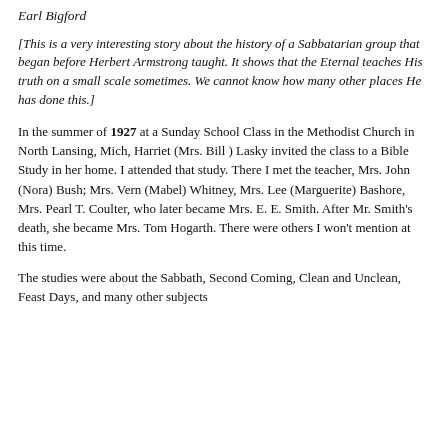Earl Bigford
[This is a very interesting story about the history of a Sabbatarian group that began before Herbert Armstrong taught. It shows that the Eternal teaches His truth on a small scale sometimes. We cannot know how many other places He has done this.]
In the summer of 1927 at a Sunday School Class in the Methodist Church in North Lansing, Mich, Harriet (Mrs. Bill ) Lasky invited the class to a Bible Study in her home. I attended that study. There I met the teacher, Mrs. John (Nora) Bush; Mrs. Vern (Mabel) Whitney, Mrs. Lee (Marguerite) Bashore, Mrs. Pearl T. Coulter, who later became Mrs. E. E. Smith. After Mr. Smith's death, she became Mrs. Tom Hogarth. There were others I won't mention at this time.
The studies were about the Sabbath, Second Coming, Clean and Unclean, Feast Days, and many other subjects